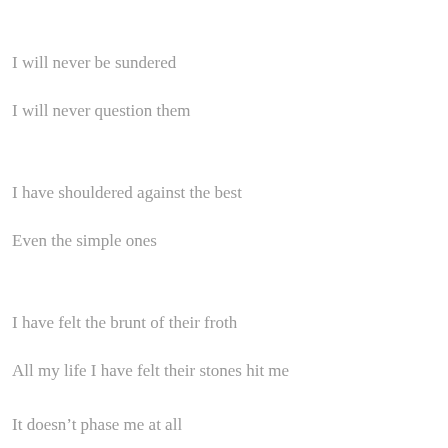I will never be sundered
I will never question them
I have shouldered against the best
Even the simple ones
I have felt the brunt of their froth
All my life I have felt their stones hit me
It doesn’t phase me at all